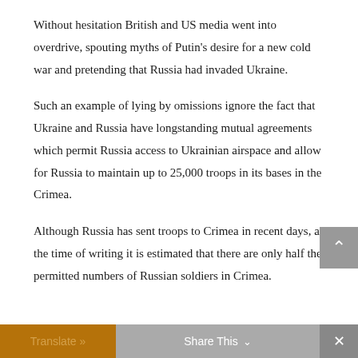Without hesitation British and US media went into overdrive, spouting myths of Putin's desire for a new cold war and pretending that Russia had invaded Ukraine.
Such an example of lying by omissions ignore the fact that Ukraine and Russia have longstanding mutual agreements which permit Russia access to Ukrainian airspace and allow for Russia to maintain up to 25,000 troops in its bases in the Crimea.
Although Russia has sent troops to Crimea in recent days, at the time of writing it is estimated that there are only half the permitted numbers of Russian soldiers in Crimea.
Translate »   Share This   ×